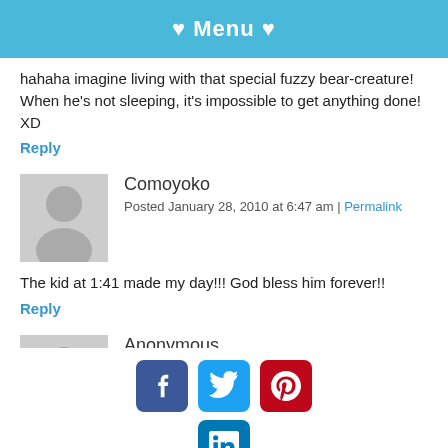♥ Menu ♥
hahaha imagine living with that special fuzzy bear-creature! When he's not sleeping, it's impossible to get anything done! XD
Reply
Comoyoko
Posted January 28, 2010 at 6:47 am | Permalink
The kid at 1:41 made my day!!! God bless him forever!!
Reply
Anonymous
Posted February 2, 2010 at 6:54 am | Permalink
Your cat is too cute to actually be alive. I don't believe you...